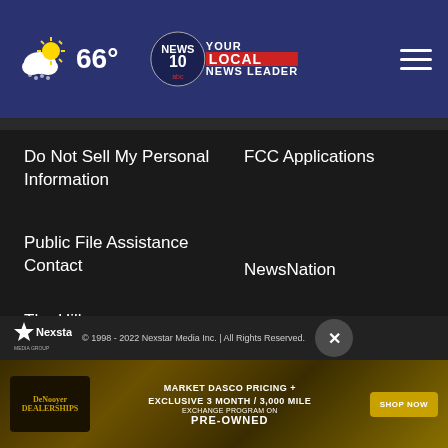66° — NEWS 10 ABC YOUR LOCAL NEWS LEADER
Do Not Sell My Personal Information
FCC Applications
Public File Assistance Contact
The Hill
NewsNation
BestReviews
Content Licensing
Nexstar Digital
© 1998 - 2022 Nexstar Media Inc. | All Rights Reserved.
[Figure (infographic): DeNooyer dealership advertisement banner: MARKET DASCO PRICING + EXCLUSIVE 3 MONTH / 3,000 MILE EXCHANGE PROGRAM ON PRE-OWNED with SHOP NOW button]